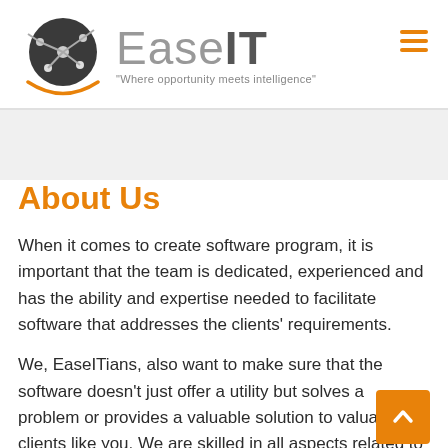[Figure (logo): EaseIT logo with circular dark grey globe icon and orange swoosh, brand name 'EaseIT' in grey and bold dark, tagline 'Where opportunity meets intelligence']
About Us
When it comes to create software program, it is important that the team is dedicated, experienced and has the ability and expertise needed to facilitate software that addresses the clients' requirements.
We, EaseITians, also want to make sure that the software doesn't just offer a utility but solves a problem or provides a valuable solution to valuable clients like you. We are skilled in all aspects related to